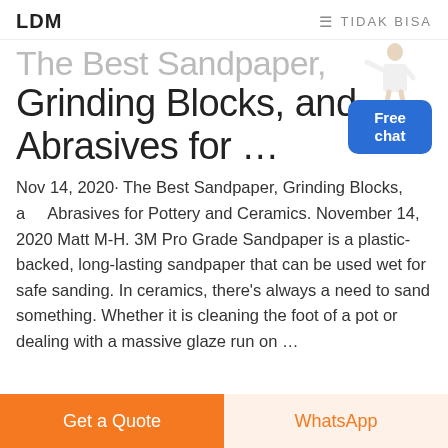LDM   ≡ TIDAK BISA
The Best Sandpaper, Grinding Blocks, and Abrasives for …
Nov 14, 2020· The Best Sandpaper, Grinding Blocks, and Abrasives for Pottery and Ceramics. November 14, 2020 Matt M-H. 3M Pro Grade Sandpaper is a plastic-backed, long-lasting sandpaper that can be used wet for safe sanding. In ceramics, there's always a need to sand something. Whether it is cleaning the foot of a pot or dealing with a massive glaze run on …
[Figure (illustration): Person in white outfit gesturing with arm extended, customer service representative figure]
Free chat
Get a Quote
WhatsApp